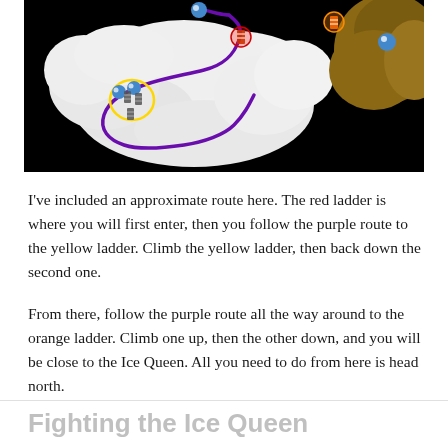[Figure (screenshot): Game map screenshot showing a route with purple path lines, yellow circled ladders, a red ladder entry point, and an orange ladder in the upper area. The map shows white terrain on a black background with colored route markers.]
I've included an approximate route here. The red ladder is where you will first enter, then you follow the purple route to the yellow ladder. Climb the yellow ladder, then back down the second one.
From there, follow the purple route all the way around to the orange ladder. Climb one up, then the other down, and you will be close to the Ice Queen. All you need to do from here is head north.
Fighting the Ice Queen